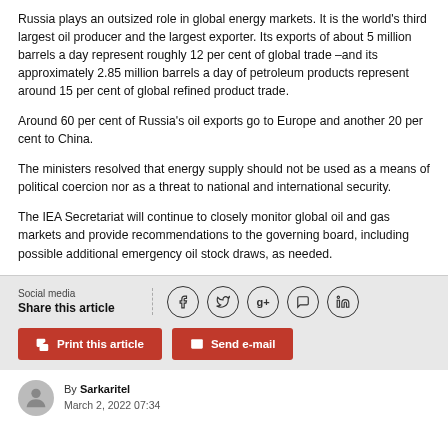Russia plays an outsized role in global energy markets. It is the world's third largest oil producer and the largest exporter. Its exports of about 5 million barrels a day represent roughly 12 per cent of global trade –and its approximately 2.85 million barrels a day of petroleum products represent around 15 per cent of global refined product trade.
Around 60 per cent of Russia's oil exports go to Europe and another 20 per cent to China.
The ministers resolved that energy supply should not be used as a means of political coercion nor as a threat to national and international security.
The IEA Secretariat will continue to closely monitor global oil and gas markets and provide recommendations to the governing board, including possible additional emergency oil stock draws, as needed.
Social media
Share this article
By Sarkaritel
March 2, 2022 07:34